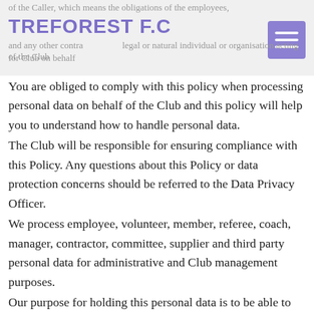of the Caller, which means the obligations of the employees, contractors and any other contractors and any other contractors, legal or natural individual or organisation acting for Club on behalf of the Club
You are obliged to comply with this policy when processing personal data on behalf of the Club and this policy will help you to understand how to handle personal data.
The Club will be responsible for ensuring compliance with this Policy. Any questions about this Policy or data protection concerns should be referred to the Data Privacy Officer.
We process employee, volunteer, member, referee, coach, manager, contractor, committee, supplier and third party personal data for administrative and Club management purposes.
Our purpose for holding this personal data is to be able to contact relevant individuals on Club business or administer the terms of your employment, and our legal basis for processing your personal data in this way is the contractual relationship we